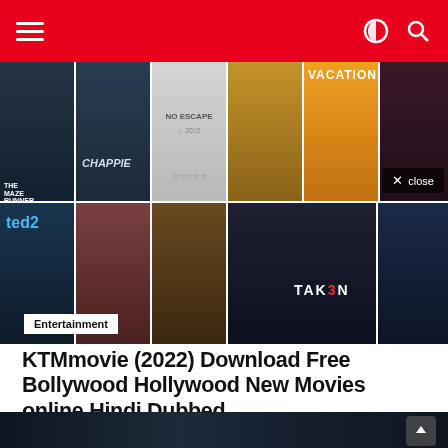Navigation bar with hamburger menu, dark mode toggle, and search icon
[Figure (photo): Collage of movie posters including The Maze Runner, Chappie, No Escape, comedy film, Vacation, action film, Ted 2, drama film, Drive or similar, Taken 3, sci-fi film. A close button overlay appears top right. An 'Entertainment' badge overlays the bottom left.]
KTMmovie (2022) Download Free Bollywood Hollywood New Movies online Hindi Dubbed
[Figure (photo): Partially visible dark cinematic preview image at the bottom, with a scroll-to-top arrow button in the bottom right.]